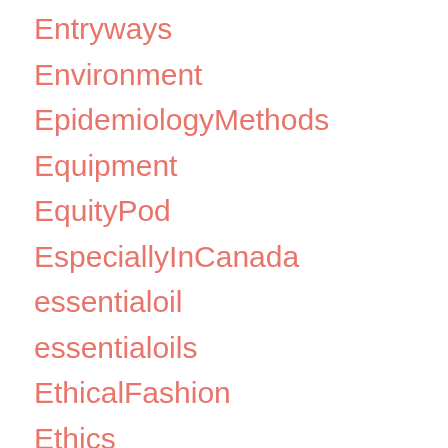Entryways
Environment
EpidemiologyMethods
Equipment
EquityPod
EspeciallyInCanada
essentialoil
essentialoils
EthicalFashion
Ethics
Etiquette
etsy
evafoam
Events
EverydayCarry